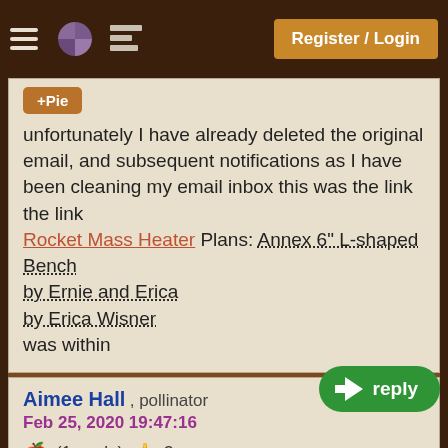Register / Login
unfortunately I have already deleted the original email, and subsequent notifications as I have been cleaning my email inbox this was the link the link Rocket Mass Heater Plans: Annex 6" L-shaped Bench by Ernie and Erica by Erica Wisner was within
Aimee Hall , pollinator
Feb 25, 2020 19:47:16
(1 apple) 3
The freebies are a really nice thing of you guys to give out! I likely will not be getting them, as I need a break in work and the weather to get to catch up on my daily-ish emails. However, I think that is an